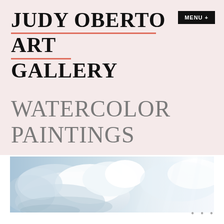JUDY OBERTO ART GALLERY
MENU +
WATERCOLOR PAINTINGS
[Figure (photo): Watercolor painting of dramatic clouds — soft blue and white tones with luminous highlights, wide panoramic crop]
• • •